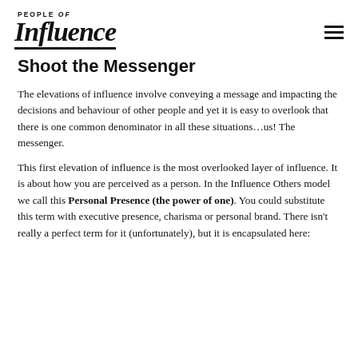PEOPLE of Influence
Shoot the Messenger
The elevations of influence involve conveying a message and impacting the decisions and behaviour of other people and yet it is easy to overlook that there is one common denominator in all these situations…us! The messenger.
This first elevation of influence is the most overlooked layer of influence. It is about how you are perceived as a person. In the Influence Others model we call this Personal Presence (the power of one). You could substitute this term with executive presence, charisma or personal brand. There isn't really a perfect term for it (unfortunately), but it is encapsulated here: